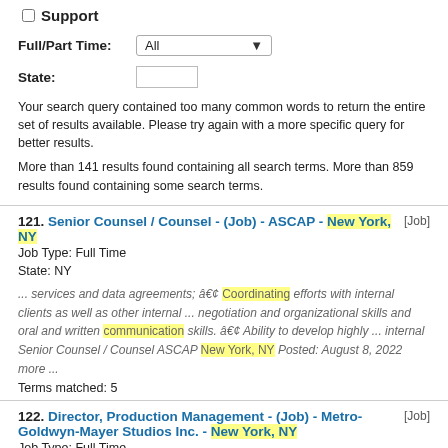Support
Full/Part Time: All
State:
Your search query contained too many common words to return the entire set of results available. Please try again with a more specific query for better results.
More than 141 results found containing all search terms. More than 859 results found containing some search terms.
121. Senior Counsel / Counsel - (Job) - ASCAP - New York, NY [Job]
Job Type: Full Time
State: NY
... services and data agreements; â€¢ Coordinating efforts with internal clients as well as other internal ... negotiation and organizational skills and oral and written communication skills. â€¢ Ability to develop highly ... internal Senior Counsel / Counsel ASCAP New York, NY Posted: August 8, 2022 more ...
Terms matched: 5
122. Director, Production Management - (Job) - Metro-Goldwyn-Mayer Studios Inc. - New York, NY [Job]
Job Type: Full Time
State: NY
... â€¢ Oversee Production Manager and Production Coordinator managing